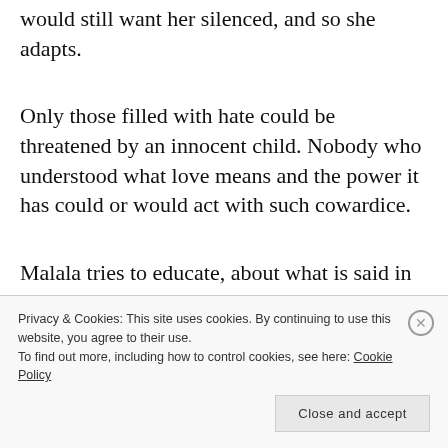would still want her silenced, and so she adapts.
Only those filled with hate could be threatened by an innocent child. Nobody who understood what love means and the power it has could or would act with such cowardice.
Malala tries to educate, about what is said in the Quran:
Privacy & Cookies: This site uses cookies. By continuing to use this website, you agree to their use. To find out more, including how to control cookies, see here: Cookie Policy
Close and accept